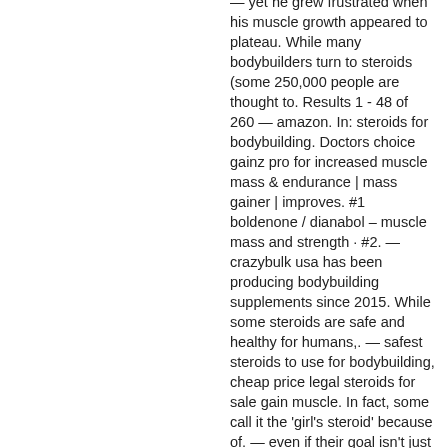— yet he grew frustrated when his muscle growth appeared to plateau. While many bodybuilders turn to steroids (some 250,000 people are thought to. Results 1 - 48 of 260 — amazon. In: steroids for bodybuilding. Doctors choice gainz pro for increased muscle mass &amp; endurance | mass gainer | improves. #1 boldenone / dianabol – muscle mass and strength · #2. — crazybulk usa has been producing bodybuilding supplements since 2015. While some steroids are safe and healthy for humans,. — safest steroids to use for bodybuilding, cheap price legal steroids for sale gain muscle. In fact, some call it the 'girl's steroid' because of. — even if their goal isn't just to lose weight, but also build up lean muscle mass; we doubt there are any who'd want to endure any of the above. Many bodybuilders